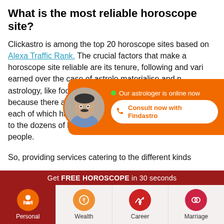What is the most reliable horoscope site?
Clickastro is among the top 20 horoscope sites based on Alexa Traffic Rank. The crucial factors that make a horoscope site reliable are its tenure, following and vari... earned over the... case of astrolo... materialise and n... astrology, like food and culture, is vast and varied. This is because there are so many different types of astrology, each of which has millions of followers. This is in addition to the dozens of languages spoken by millions of other people.
[Figure (infographic): Popup banner showing astrologer photo with green online indicator and 'Our astrologer is online now' text, with 'Consult now with Findastro' button on orange background]
So, providing services catering to the different kinds of...
Get FREE HOROSCOPE in 30 seconds
[Figure (infographic): Bottom navigation bar with four icons: Personal (hourglass, orange circle on red background), Wealth (rupee, orange circle), Career (chart with person, red circle), Marriage (rings, red circle)]